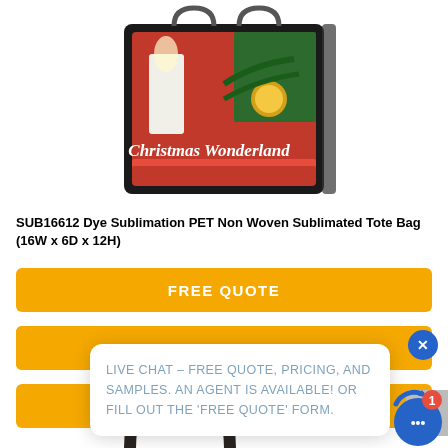[Figure (photo): Product photo of a Christmas Wonderland themed dye sublimation PET non woven tote bag with holiday decoration imagery]
SUB16612 Dye Sublimation PET Non Woven Sublimated Tote Bag (16W x 6D x 12H)
FREE QUOTE
FREE SAMPLE
LIVE CHAT – FREE QUOTE, PRICING, AND SAMPLES. AN AGENT IS AVAILABLE! OR FILL OUT THE 'FREE QUOTE' FORM.
[Figure (photo): Partial view of the handles of the tote bag at the bottom of the page]